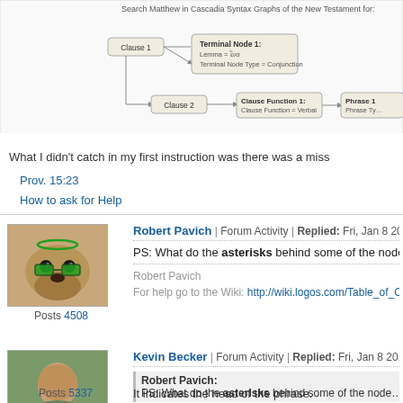[Figure (screenshot): Screenshot of a Cascadia syntax graph search tool showing clause and terminal node relationships for Matthew in the New Testament.]
What I didn't catch in my first instruction was there was a miss
Prov. 15:23
How to ask for Help
Robert Pavich | Forum Activity | Replied: Fri, Jan 8 2010 10:25 AM
PS: What do the asterisks behind some of the nodes mean a
Robert Pavich
For help go to the Wiki: http://wiki.logos.com/Table_of_Conten
Kevin Becker | Forum Activity | Replied: Fri, Jan 8 2010 10:29 AM
Robert Pavich:
PS: What do the asterisks behind some of the node
It indicates the head of the phrase.
Posts 5337